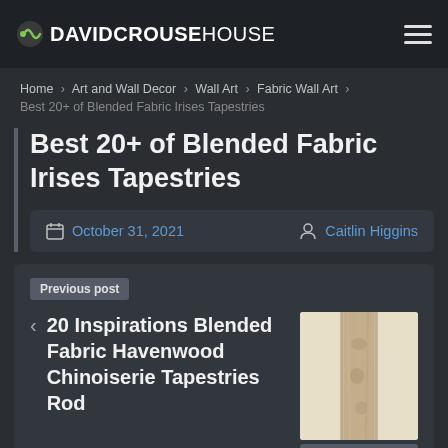DAVIDCROUSEHOUSE
Home › Art and Wall Decor › Wall Art › Fabric Wall Art › Best 20+ of Blended Fabric Irises Tapestries
Best 20+ of Blended Fabric Irises Tapestries
October 31, 2021   Caitlin Higgins
Previous post
20 Inspirations Blended Fabric Havenwood Chinoiserie Tapestries Rod